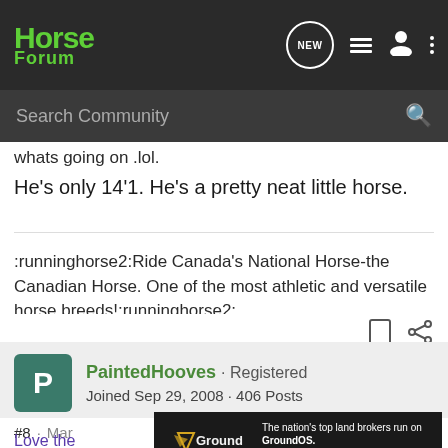Horse Forum — NEW | list | user | menu
Search Community
whats going on .lol.
He's only 14'1. He's a pretty neat little horse.
:runninghorse2:Ride Canada's National Horse-the Canadian Horse. One of the most athletic and versatile horse breeds!:runninghorse2:
PaintedHooves · Registered
Joined Sep 29, 2008 · 406 Posts
#8 · Mar
Love the
[Figure (screenshot): GroundOS advertisement banner: 'The nation's top land brokers run on GroundOS. REQUEST A DEMO']